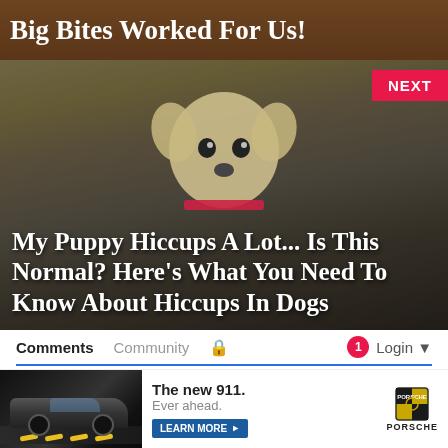Big Bites Worked For Us!
[Figure (photo): A white puppy dog looking at camera with dark background, overlaid with article title text]
My Puppy Hiccups A Lot... Is This Normal? Here’s What You Need To Know About Hiccups In Dogs
Comments  Community  🔒  1  Login
♥ Favorite  13  Sort by Newest
Start the discussion...
[Figure (photo): Porsche 911 advertisement showing sports car on road with text: The new 911. Ever ahead. LEARN MORE. Porsche logo.]